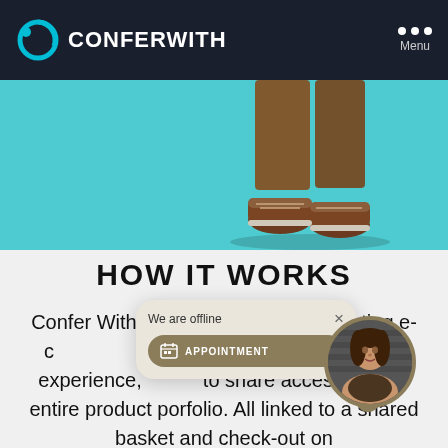CONFERWITH — Menu navigation bar
[Figure (screenshot): Hero image showing lower body of person wearing brown/tan shoes and rust-colored trousers against a teal/turquoise background]
HOW IT WORKS
Confer With [integrates into] your existing e-c[ommerce site, offer]ed one-to-one shopping experience, [allowing] share access of your entire product por[tf]olio. All linked to a shared basket and check-out on
[Figure (infographic): Popup widget showing 'We are offline' message with an APPOINTMENT booking button in tan/gold color, and a female avatar photo in circular frame with gold border]